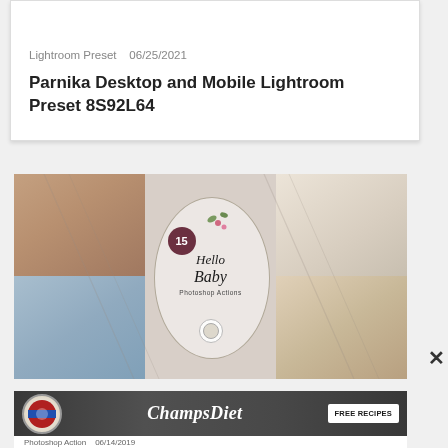[Figure (screenshot): Before/After image card header with orange gradient background showing 'BEFORE', 'AFTER', and 'BANGSET' labels]
Lightroom Preset   06/25/2021
Parnika Desktop and Mobile Lightroom Preset 8S92L64
[Figure (photo): Hello Baby Photoshop Actions promotional image showing collage of baby/infant photos with circular logo overlay reading '15 Hello Baby Photoshop Actions' with floral decorations and watermark diagonal lines]
[Figure (screenshot): ChampsDiet advertisement banner with logo, cursive ChampsDiet text, and FREE RECIPES button on dark background]
Photoshop Action   06/14/2019